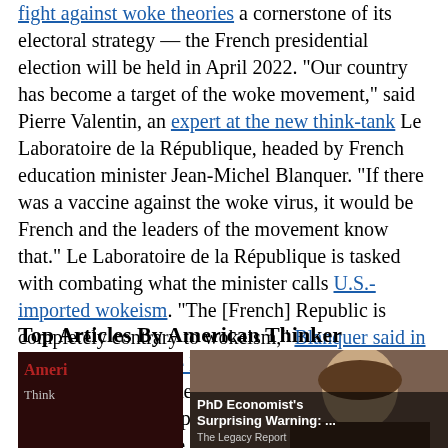fight against woke theories a cornerstone of its electoral strategy — the French presidential election will be held in April 2022. "Our country has become a target of the woke movement," said Pierre Valentin, an expert at the new think-tank Le Laboratoire de la République, headed by French education minister Jean-Michel Blanquer. "If there was a vaccine against the woke virus, it would be French and the leaders of the movement know that." Le Laboratoire de la République is tasked with combating what the minister calls U.S.-imported wokeism. "The [French] Republic is completely contrary to wokeism," Blanquer said in an interview with Le Monde. "In the United States, this ideology provoked a reaction and led to the rise of Donald Trump." He added: "France and its youth have to escape that."
Top Articles By American Thinker
[Figure (screenshot): Advertisement overlay showing two ad thumbnails: left ad shows a woman with text 'PhD Economist's Surprising Warning: ...' from The Legacy Report; right ad shows a man at a desk with text 'Dems Raid Mar-A-Lago when They Should b...' from Infected. A close button (×) appears in the top right of the overlay. Below/behind the overlay is the American Thinker logo strip and a LIVE/More panel on the right.]